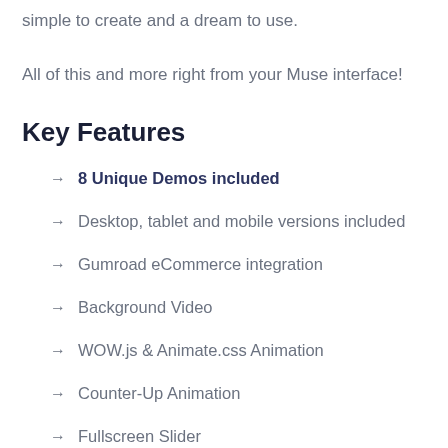simple to create and a dream to use.
All of this and more right from your Muse interface!
Key Features
→ 8 Unique Demos included
→ Desktop, tablet and mobile versions included
→ Gumroad eCommerce integration
→ Background Video
→ WOW.js & Animate.css Animation
→ Counter-Up Animation
→ Fullscreen Slider
→ Slid…